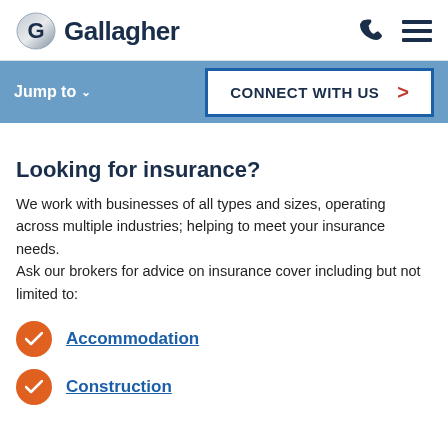Gallagher
Jump to  CONNECT WITH US
Looking for insurance?
We work with businesses of all types and sizes, operating across multiple industries; helping to meet your insurance needs.
Ask our brokers for advice on insurance cover including but not limited to:
Accommodation
Construction